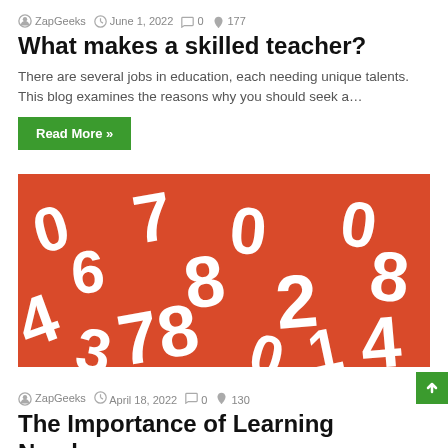ZapGeeks  June 1, 2022  0  177
What makes a skilled teacher?
There are several jobs in education, each needing unique talents. This blog examines the reasons why you should seek a…
Read More »
[Figure (photo): Red background with white plastic number characters scattered randomly, showing digits 0–9 in various orientations.]
ZapGeeks  April 18, 2022  0  130
The Importance of Learning Numbers